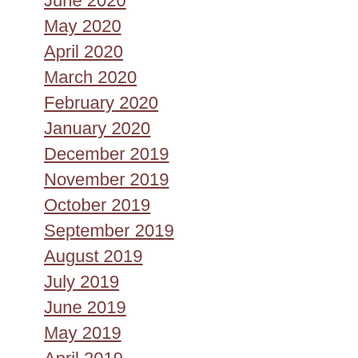June 2020
May 2020
April 2020
March 2020
February 2020
January 2020
December 2019
November 2019
October 2019
September 2019
August 2019
July 2019
June 2019
May 2019
April 2019
March 2019
February 2019
January 2019
November 2018